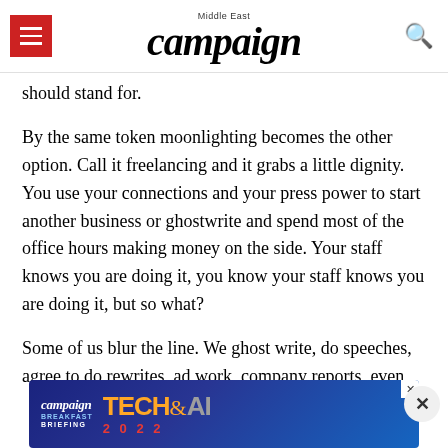campaign Middle East
should stand for.
By the same token moonlighting becomes the other option. Call it freelancing and it grabs a little dignity. You use your connections and your press power to start another business or ghostwrite and spend most of the office hours making money on the side. Your staff knows you are doing it, you know your staff knows you are doing it, but so what?
Some of us blur the line. We ghost write, do speeches, agree to do rewrites, ad work, company reports, even wedding cards etc, but outside office time and not at the expense of the paper we work on. It is a bit hypocritical but easier to salve frissons of guilt.
[Figure (screenshot): Campaign Middle East Tech & AI 2022 Breakfast Briefing advertisement banner]